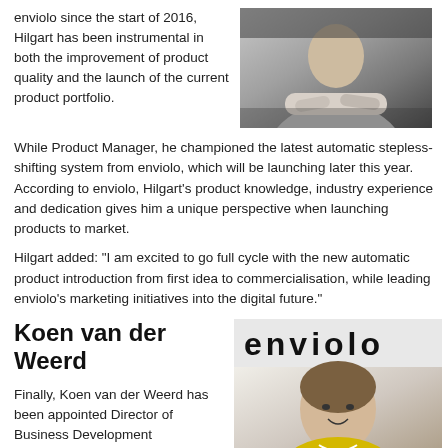enviolo since the start of 2016, Hilgart has been instrumental in both the improvement of product quality and the launch of the current product portfolio.
[Figure (photo): Person standing with arms crossed, dark background]
While Product Manager, he championed the latest automatic stepless-shifting system from enviolo, which will be launching later this year. According to enviolo, Hilgart’s product knowledge, industry experience and dedication gives him a unique perspective when launching products to market.
Hilgart added: “I am excited to go full cycle with the new automatic product introduction from first idea to commercialisation, while leading enviolo’s marketing initiatives into the digital future.”
Koen van der Weerd
[Figure (photo): enviolo logo strip and portrait photo of Koen van der Weerd, man smiling, brown hair]
Finally, Koen van der Weerd has been appointed Director of Business Development